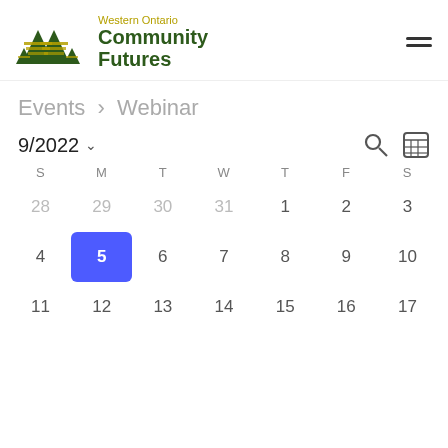Western Ontario Community Futures
Events › Webinar
9/2022
| S | M | T | W | T | F | S |
| --- | --- | --- | --- | --- | --- | --- |
| 28 | 29 | 30 | 31 | 1 | 2 | 3 |
| 4 | 5 | 6 | 7 | 8 | 9 | 10 |
| 11 | 12 | 13 | 14 | 15 | 16 | 17 |